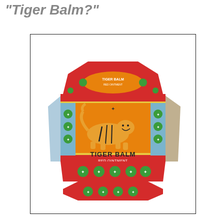"Tiger Balm?"
[Figure (photo): Photograph of a Tiger Balm Red Ointment box — an octagonal red box with green medallion decorations around the sides, an orange front panel featuring a leaping tiger illustration, and text reading 'TIGER BALM RED OINTMENT']